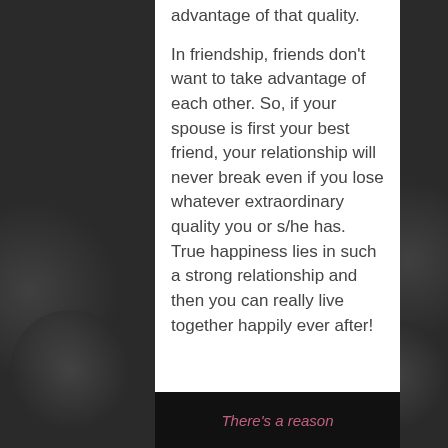advantage of that quality.
In friendship, friends don't want to take advantage of each other. So, if your spouse is first your best friend, your relationship will never break even if you lose whatever extraordinary quality you or s/he has. True happiness lies in such a strong relationship and then you can really live together happily ever after!
[Figure (other): Dark banner with pink italic text reading 'There's a reason']